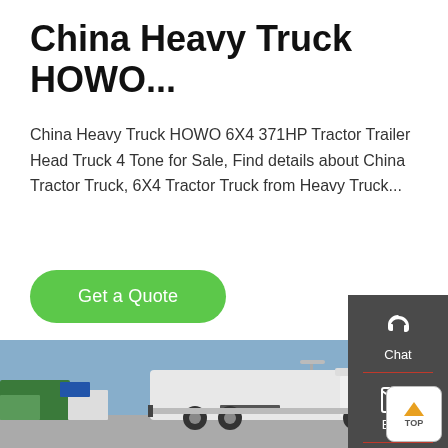China Heavy Truck HOWO...
China Heavy Truck HOWO 6X4 371HP Tractor Trailer Head Truck 4 Tone for Sale, Find details about China Tractor Truck, 6X4 Tractor Truck from Heavy Truck...
Get a Quote
[Figure (photo): White HOWO heavy tractor truck in a parking lot under a blue sky, with other trucks visible in the background.]